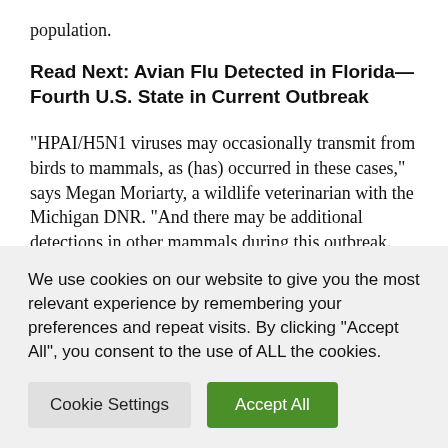population.
Read Next: Avian Flu Detected in Florida—Fourth U.S. State in Current Outbreak
“HPAI/H5N1 viruses may occasionally transmit from birds to mammals, as (has) occurred in these cases,” says Megan Moriarty, a wildlife veterinarian with the Michigan DNR.  “And there may be additional detections in other mammals during this outbreak.
We use cookies on our website to give you the most relevant experience by remembering your preferences and repeat visits. By clicking “Accept All”, you consent to the use of ALL the cookies.